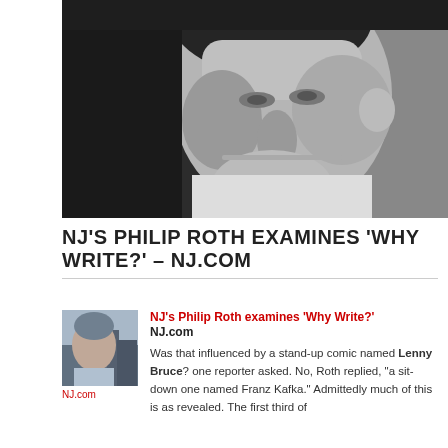[Figure (photo): Black and white close-up portrait photograph of a middle-aged man with dark hair, looking slightly downward, wearing a white shirt]
NJ'S PHILIP ROTH EXAMINES 'WHY WRITE?' – NJ.COM
[Figure (photo): Small thumbnail photograph of an older man, Philip Roth, outdoors with city/skyline in background]
NJ's Philip Roth examines 'Why Write?'
NJ.com
Was that influenced by a stand-up comic named Lenny Bruce? one reporter asked. No, Roth replied, "a sit-down one named Franz Kafka."
Admittedly much of this is as revealed. The first third of